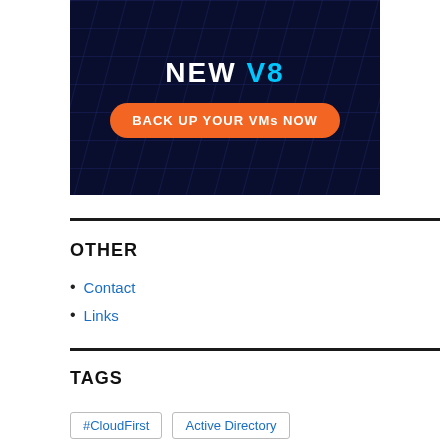[Figure (other): Dark blue banner with grid pattern showing 'NEW V8' in cyan/white bold text and an orange rounded button reading 'BACK UP YOUR VMs NOW']
OTHER
Contact
Links
TAGS
#CloudFirst   Active Directory